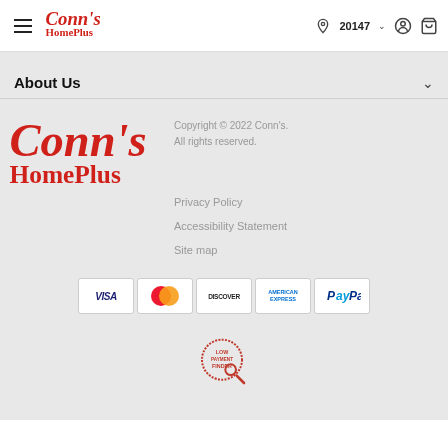Conn's HomePlus – Navigation header with hamburger menu, logo, zip code 20147, user icon, cart icon
About Us
[Figure (logo): Conn's HomePlus large red script logo]
Copyright © 2022 Conn's. All rights reserved.
Privacy Policy
Accessibility Statement
Site map
[Figure (other): Payment method icons: Visa, Mastercard, Discover, American Express, PayPal]
[Figure (logo): Low Payment Finder badge – circular red border logo with magnifying glass]